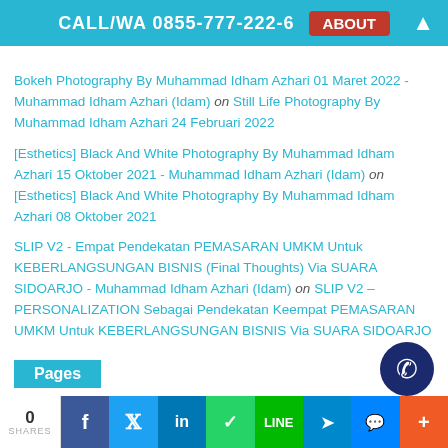CALL/WA 0855-777-222-6 ABOUT
Bokeh Photography By Muhammad Idham Azhari 01 Maret 2022 - Muhammad Idham Azhari (Idam) on Still Life Photography By Muhammad Idham Azhari 24 Februari 2022
[Esthetics] Black And White Photography By Muhammad Idham Azhari 15 Oktober 2021 - Muhammad Idham Azhari (Idam) on [Esthetics] Black And White Photography By Muhammad Idham Azhari 08 Oktober 2021
SLIP V2 - Empat Pendekatan PEMASARAN UMKM Untuk KEBERLANGSUNGAN BISNIS (Final Thoughts) Via SUARA SIDOARJO - Muhammad Idham Azhari (Idam) on SLIP V2 – PERSONALIZATION Sebagai Pendekatan Keempat PEMASARAN UMKM Untuk KEBERLANGSUNGAN BISNIS Via SUARA SIDOARJO
Pages
0 SHARES | Facebook | Twitter | LinkedIn | WhatsApp | LINE | Telegram | Messenger | +